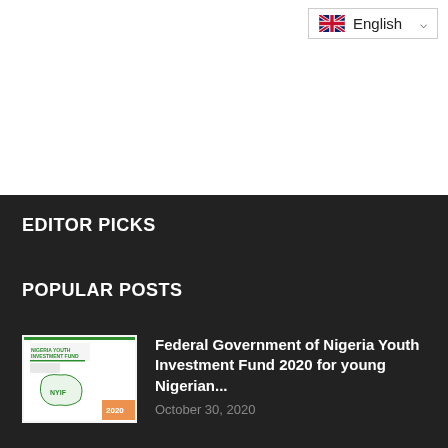[Figure (screenshot): Language selector dropdown showing UK flag and 'English' text with chevron]
EDITOR PICKS
POPULAR POSTS
[Figure (photo): Nigeria Youth Investment Fund document thumbnail showing NYIF logo and map of Nigeria]
Federal Government of Nigeria Youth Investment Fund 2020 for young Nigerian...
October 30, 2020